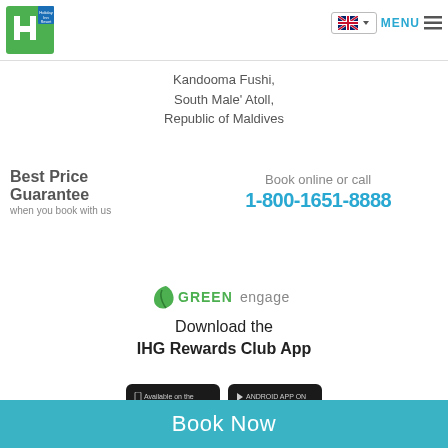[Figure (logo): Holiday Inn Resort Kandooma Maldives logo - green and white IHG hotel logo]
[Figure (other): UK flag language selector button with dropdown arrow, and MENU hamburger icon]
Kandooma Fushi,
South Male' Atoll,
Republic of Maldives
Best Price Guarantee when you book with us
Book online or call
1-800-1651-8888
[Figure (logo): IHG Green Engage logo - green leaf icon with GREEN engage text]
Download the
IHG Rewards Club App
[Figure (other): App Store and Android App On Google Play download buttons]
Book Now